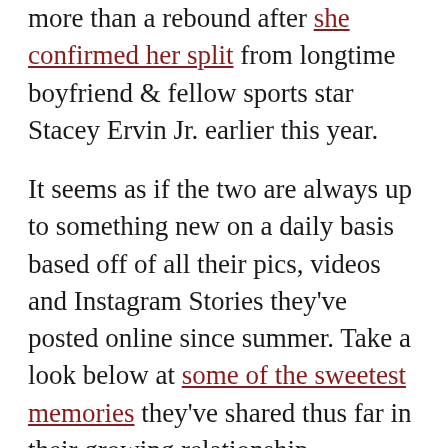more than a rebound after she confirmed her split from longtime boyfriend & fellow sports star Stacey Ervin Jr. earlier this year.
It seems as if the two are always up to something new on a daily basis based off of all their pics, videos and Instagram Stories they've posted online since summer. Take a look below at some of the sweetest memories they've shared thus far in their growing relationship.
Prom Posing
ISimone shared the cutest photo of herself with Jonathan serving some major prom pose vibes